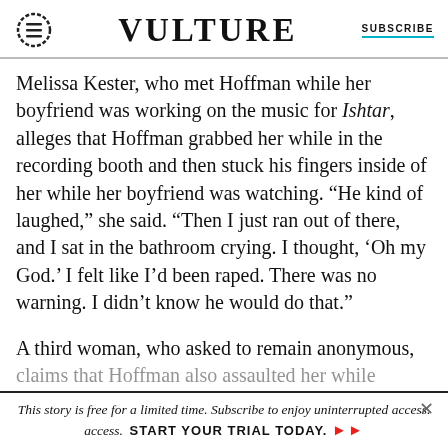VULTURE  SUBSCRIBE
Melissa Kester, who met Hoffman while her boyfriend was working on the music for Ishtar, alleges that Hoffman grabbed her while in the recording booth and then stuck his fingers inside of her while her boyfriend was watching. “He kind of laughed,” she said. “Then I just ran out of there, and I sat in the bathroom crying. I thought, ‘Oh my God.’ I felt like I’d been raped. There was no warning. I didn’t know he would do that.”
A third woman, who asked to remain anonymous, claims that Hoffman also assaulted her while
This story is free for a limited time. Subscribe to enjoy uninterrupted access.  START YOUR TRIAL TODAY.